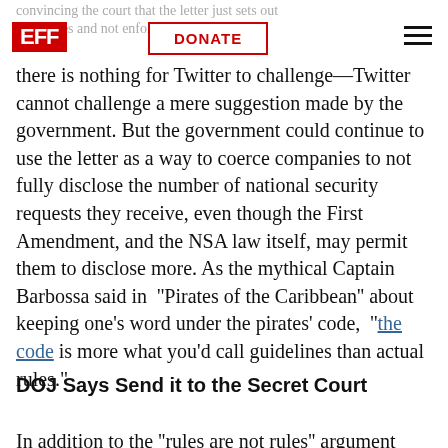convincing the court that the letter just sets out guidelines and not enforceable rules, the
there is nothing for Twitter to challenge—Twitter cannot challenge a mere suggestion made by the government. But the government could continue to use the letter as a way to coerce companies to not fully disclose the number of national security requests they receive, even though the First Amendment, and the NSA law itself, may permit them to disclose more. As the mythical Captain Barbossa said in ''Pirates of the Caribbean'' about keeping one's word under the pirates' code, ''the code is more what you'd call guidelines than actual rules."
DOJ Says Send it to the Secret Court
In addition to the ''rules are not rules'' argument